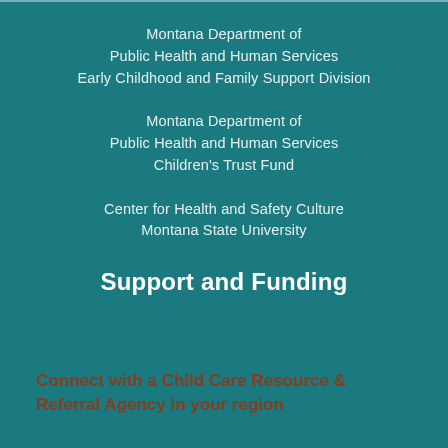Behavioral Health and Developmental Disabilities Division
Montana Department of Public Health and Human Services Early Childhood and Family Support Division
Montana Department of Public Health and Human Services Children's Trust Fund
Center for Health and Safety Culture Montana State University
Support and Funding
Connect with a Child Care Resource & Referral Agency in your region